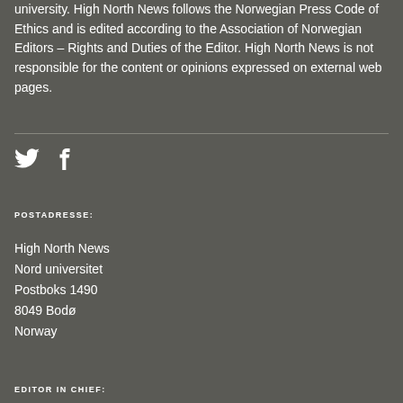university. High North News follows the Norwegian Press Code of Ethics and is edited according to the Association of Norwegian Editors – Rights and Duties of the Editor. High North News is not responsible for the content or opinions expressed on external web pages.
[Figure (illustration): Social media icons: Twitter bird icon and Facebook 'f' icon, white on dark grey background]
POSTADRESSE:
High North News
Nord universitet
Postboks 1490
8049 Bodø
Norway
EDITOR IN CHIEF: